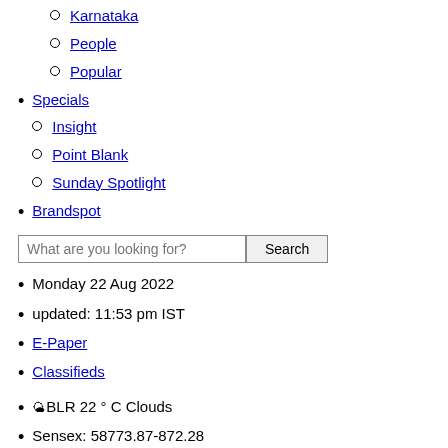Karnataka
People
Popular
Specials
Insight
Point Blank
Sunday Spotlight
Brandspot
Monday 22 Aug 2022
updated: 11:53 pm IST
E-Paper
Classifieds
BLR 22 ° C Clouds
Sensex: 58773.87-872.28
Nifty: 17490.7-267.75
Home